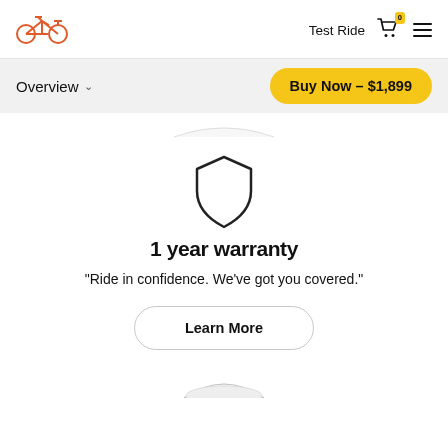Test Ride  [cart icon]  [menu icon]
Overview ∨
Buy Now - $1,899
[Figure (illustration): Shield icon representing warranty protection]
1 year warranty
"Ride in confidence. We've got you covered."
Learn More
[Figure (illustration): Partial circle arc at bottom of page, cropped]